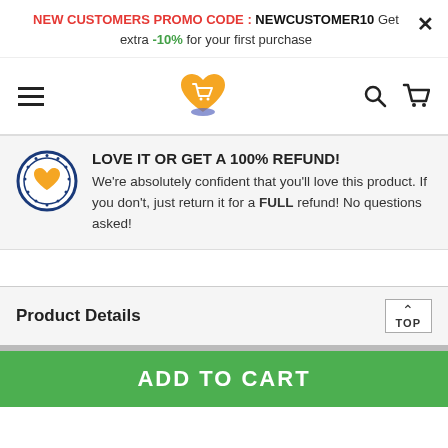NEW CUSTOMERS PROMO CODE : NEWCUSTOMER10 Get extra -10% for your first purchase
[Figure (logo): Shopping cart heart logo in orange]
LOVE IT OR GET A 100% REFUND! We're absolutely confident that you'll love this product. If you don't, just return it for a FULL refund! No questions asked!
Product Details
ADD TO CART